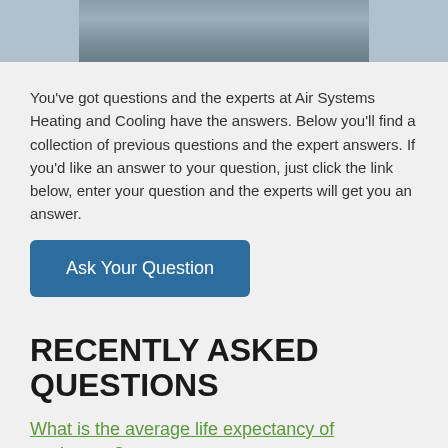[Figure (photo): Cropped photo of people sitting, partially visible at top of page]
You've got questions and the experts at Air Systems Heating and Cooling have the answers. Below you'll find a collection of previous questions and the expert answers. If you'd like an answer to your question, just click the link below, enter your question and the experts will get you an answer.
Ask Your Question
RECENTLY ASKED QUESTIONS
What is the average life expectancy of equipment?
Can I just replace the outdoor unit on an older system to save money?
Will a bigger sized system perform better?